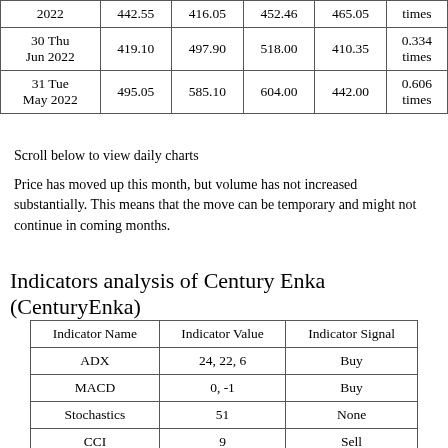|  |  |  |  |  |  |
| --- | --- | --- | --- | --- | --- |
| 2022 | 442.55 | 416.05 | 452.46 | 465.05 | times |
| 30 Thu Jun 2022 | 419.10 | 497.90 | 518.00 | 410.35 | 0.334 times |
| 31 Tue May 2022 | 495.05 | 585.10 | 604.00 | 442.00 | 0.606 times |
Scroll below to view daily charts
Price has moved up this month, but volume has not increased substantially. This means that the move can be temporary and might not continue in coming months.
Indicators analysis of Century Enka (CenturyEnka)
| Indicator Name | Indicator Value | Indicator Signal |
| --- | --- | --- |
| ADX | 24, 22, 6 | Buy |
| MACD | 0, -1 | Buy |
| Stochastics | 51 | None |
| CCI | 9 | Sell |
| RSI | 56 | Buy |
| OBV | 28593 | Sell |
| HVIRe... | 448... | Sell |